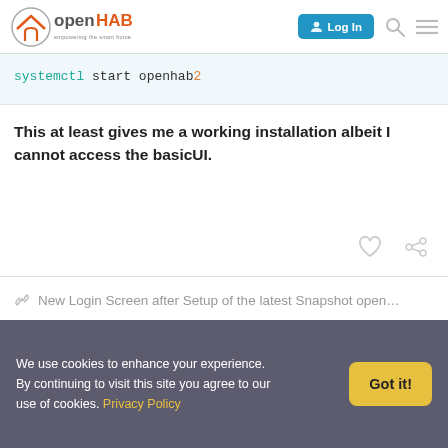openHAB — empowering the smart home
systemctl start openhab2
This at least gives me a working installation albeit I cannot access the basicUI.
New Login Screen after Setup of the latest Snapshot open…
Chrishab Christian  Oct '18
We use cookies to enhance your experience. By continuing to visit this site you agree to our use of cookies. Privacy Policy